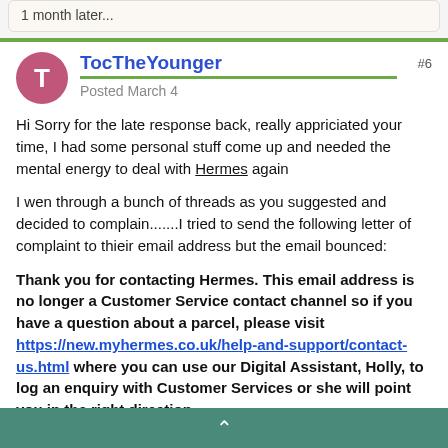1 month later...
TocTheYounger
Posted March 4
#6
Hi Sorry for the late response back, really appriciated your time, I had some personal stuff come up and needed the mental energy to deal with Hermes again
I wen through a bunch of threads as you suggested and decided to complain.......I tried to send the following letter of complaint to  thieir email address but the email bounced:
Thank you for contacting Hermes.  This email address is no longer a Customer Service contact channel so if you have a question about a parcel, please visit https://new.myhermes.co.uk/help-and-support/contact-us.html where you can use our Digital Assistant, Holly, to log an enquiry with Customer Services or she will point you in the right direction.